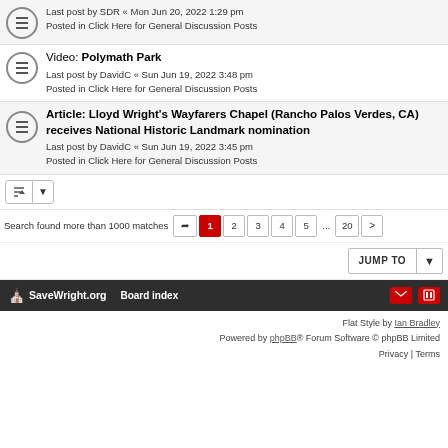Last post by SDR « Mon Jun 20, 2022 1:29 pm
Posted in Click Here for General Discussion Posts
Video: Polymath Park
Last post by DavidC « Sun Jun 19, 2022 3:48 pm
Posted in Click Here for General Discussion Posts
Article: Lloyd Wright's Wayfarers Chapel (Rancho Palos Verdes, CA) receives National Historic Landmark nomination
Last post by DavidC « Sun Jun 19, 2022 3:45 pm
Posted in Click Here for General Discussion Posts
Search found more than 1000 matches
SaveWright.org   Board index
Flat Style by Ian Bradley
Powered by phpBB® Forum Software © phpBB Limited
Privacy | Terms